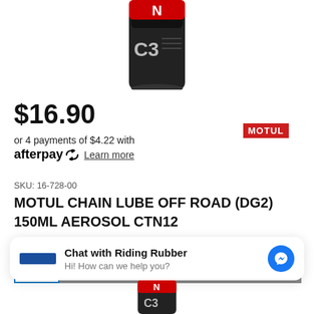[Figure (photo): Partial view of Motul C3 chain lube aerosol can product image cropped at top]
[Figure (logo): MOTUL brand logo in white text on red background]
$16.90
or 4 payments of $4.22 with afterpay Learn more
SKU: 16-728-00
MOTUL CHAIN LUBE OFF ROAD (DG2) 150ML AEROSOL CTN12
1
Add to Cart
Chat with Riding Rubber
Hi! How can we help you?
[Figure (photo): Partial view of Motul chain lube product can at the bottom of the page]